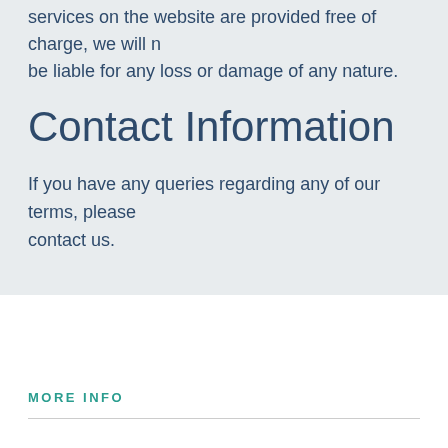services on the website are provided free of charge, we will not be liable for any loss or damage of any nature.
Contact Information
If you have any queries regarding any of our terms, please contact us.
MORE INFO